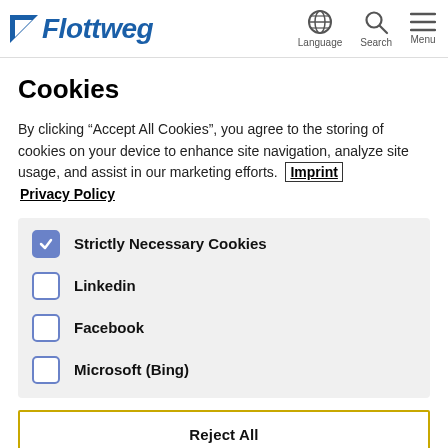Flottweg | Language | Search | Menu
Cookies
By clicking “Accept All Cookies”, you agree to the storing of cookies on your device to enhance site navigation, analyze site usage, and assist in our marketing efforts. Imprint Privacy Policy
Strictly Necessary Cookies (checked)
Linkedin (unchecked)
Facebook (unchecked)
Microsoft (Bing) (unchecked)
Reject All